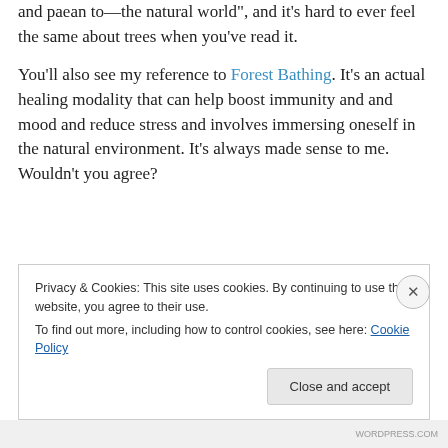and paean to—the natural world", and it's hard to ever feel the same about trees when you've read it.
You'll also see my reference to Forest Bathing. It's an actual healing modality that can help boost immunity and and mood and reduce stress and involves immersing oneself in the natural environment. It's always made sense to me. Wouldn't you agree?
Privacy & Cookies: This site uses cookies. By continuing to use this website, you agree to their use. To find out more, including how to control cookies, see here: Cookie Policy
Close and accept